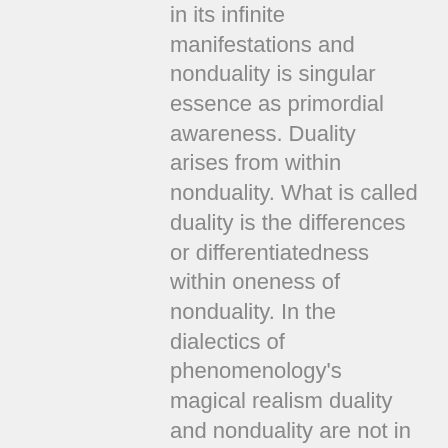in its infinite manifestations and nonduality is singular essence as primordial awareness. Duality arises from within nonduality. What is called duality is the differences or differentiatedness within oneness of nonduality. In the dialectics of phenomenology's magical realism duality and nonduality are not in opposition whatsoever. Duality within nonduality is mutually inclusive and using Deluze's language the difference is nonessential difference.
GARAB DORJE: DEEP IMMERSION IN AWARENESS
I will utilized and transliterate the wording and understanding of Garab